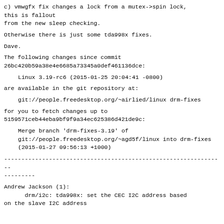c) vmwgfx fix changes a lock from a mutex->spin lock,
this is fallout
from the new sleep checking.
Otherwise there is just some tda998x fixes.
Dave.
The following changes since commit
26bc420b59a38e4e6685a73345a0def461136dce:
Linux 3.19-rc6 (2015-01-25 20:04:41 -0800)
are available in the git repository at:
git://people.freedesktop.org/~airlied/linux drm-fixes
for you to fetch changes up to
5159571ceb44eba9bf9f9a34ec625386d421de9c:
Merge branch 'drm-fixes-3.19' of
git://people.freedesktop.org/~agd5f/linux into drm-fixes (2015-01-27 09:56:13 +1000)
----------------------------------------------------------------
---------
Andrew Jackson (1):
      drm/i2c: tda998x: set the CEC I2C address based
on the slave I2C address